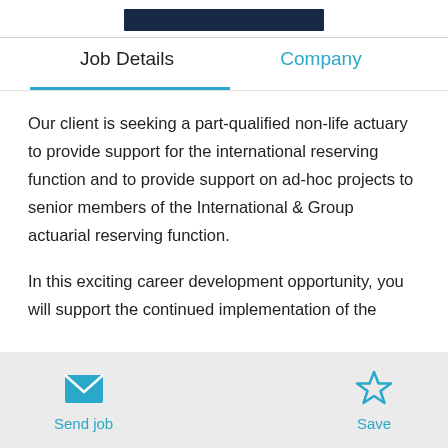[Figure (logo): Dark navy blue rectangular bar (logo placeholder)]
Job Details
Company
Our client is seeking a part-qualified non-life actuary to provide support for the international reserving function and to provide support on ad-hoc projects to senior members of the International & Group actuarial reserving function.
In this exciting career development opportunity, you will support the continued implementation of the
Send job
Save